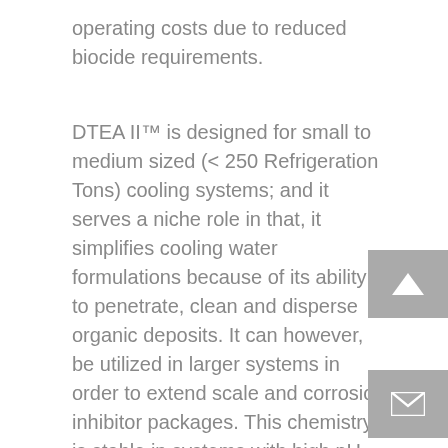operating costs due to reduced biocide requirements.
DTEA II™ is designed for small to medium sized (< 250 Refrigeration Tons) cooling systems; and it serves a niche role in that, it simplifies cooling water formulations because of its ability to penetrate, clean and disperse organic deposits. It can however, be utilized in larger systems in order to extend scale and corrosion inhibitor packages. This chemistry is stable in systems with high pH and high organic load, and in systems with high levels of ammonia and hydrogen sulfide. Furthermore, DTEA II™ is extremely effective in the removal and prevention of inorganic elemental sulfur deposits.